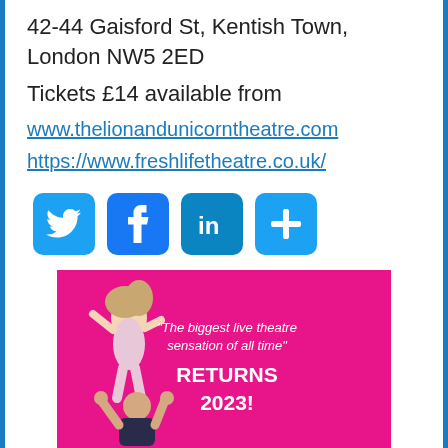42-44 Gaisford St, Kentish Town, London NW5 2ED
Tickets £14 available from
www.thelionandunicorntheatre.com
https://www.freshlifetheatre.co.uk/
[Figure (infographic): Four social media icon buttons: Twitter (bird icon), Facebook (f icon), LinkedIn (in icon), and a share/plus icon, all with blue rounded-rectangle backgrounds.]
[Figure (photo): A pink/magenta promotional theatre advertisement image showing two dancers (a woman being lifted by a man) with white text reading: 'The biggest live theatre sensation of all time' RETURNS 2023!]